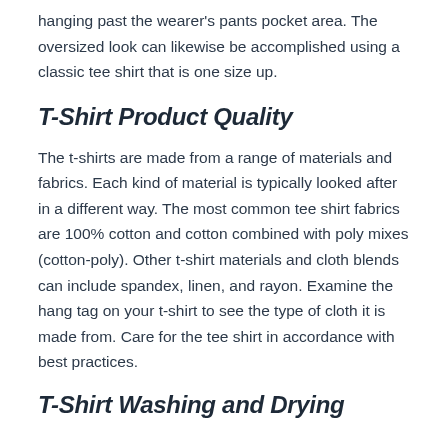hanging past the wearer's pants pocket area. The oversized look can likewise be accomplished using a classic tee shirt that is one size up.
T-Shirt Product Quality
The t-shirts are made from a range of materials and fabrics. Each kind of material is typically looked after in a different way. The most common tee shirt fabrics are 100% cotton and cotton combined with poly mixes (cotton-poly). Other t-shirt materials and cloth blends can include spandex, linen, and rayon. Examine the hang tag on your t-shirt to see the type of cloth it is made from. Care for the tee shirt in accordance with best practices.
T-Shirt Washing and Drying